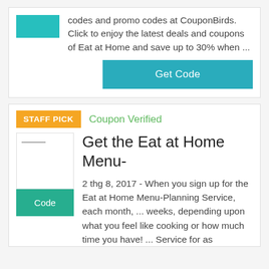codes and promo codes at CouponBirds. Click to enjoy the latest deals and coupons of Eat at Home and save up to 30% when ...
Get Code
STAFF PICK
Coupon Verified
Get the Eat at Home Menu-
2 thg 8, 2017 - When you sign up for the Eat at Home Menu-Planning Service, each month, ... weeks, depending upon what you feel like cooking or how much time you have! ... Service for as